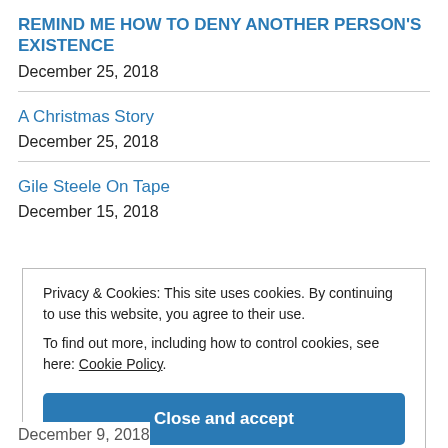REMIND ME HOW TO DENY ANOTHER PERSON'S EXISTENCE
December 25, 2018
A Christmas Story
December 25, 2018
Gile Steele On Tape
December 15, 2018
Privacy & Cookies: This site uses cookies. By continuing to use this website, you agree to their use. To find out more, including how to control cookies, see here: Cookie Policy
Close and accept
December 9, 2018